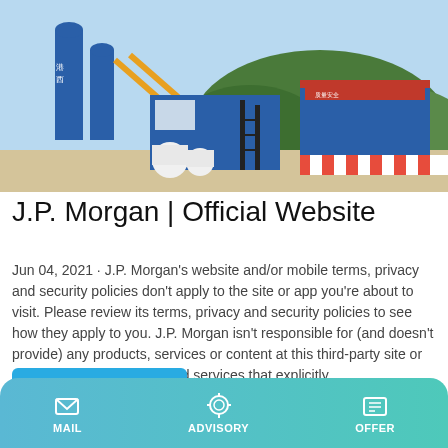[Figure (photo): Industrial construction site with blue silos/tanks, a blue office building, yellow conveyor structures, and a red-striped barrier in the foreground, with green mountains and blue sky in the background. Chinese text visible on structures.]
J.P. Morgan | Official Website
Jun 04, 2021 · J.P. Morgan's website and/or mobile terms, privacy and security policies don't apply to the site or app you're about to visit. Please review its terms, privacy and security policies to see how they apply to you. J.P. Morgan isn't responsible for (and doesn't provide) any products, services or content at this third-party site or app, except for products and services that explicitly
Learn More
MAIL  ADVISORY  OFFER